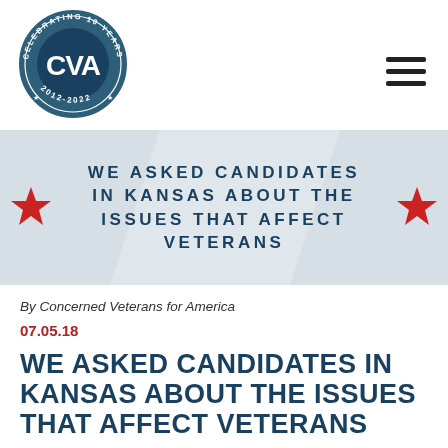[Figure (logo): CVA Concerned Veterans for America circular logo with text 'Celebrating 10 Years 2012-2022']
WE ASKED CANDIDATES IN KANSAS ABOUT THE ISSUES THAT AFFECT VETERANS
By Concerned Veterans for America
07.05.18
WE ASKED CANDIDATES IN KANSAS ABOUT THE ISSUES THAT AFFECT VETERANS